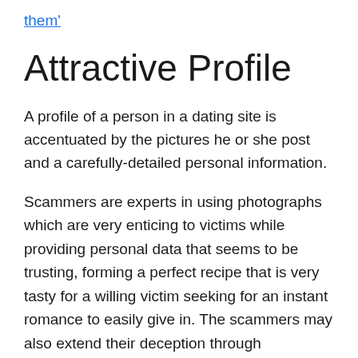them'
Attractive Profile
A profile of a person in a dating site is accentuated by the pictures he or she post and a carefully-detailed personal information.
Scammers are experts in using photographs which are very enticing to victims while providing personal data that seems to be trusting, forming a perfect recipe that is very tasty for a willing victim seeking for an instant romance to easily give in. The scammers may also extend their deception through continuous communication through